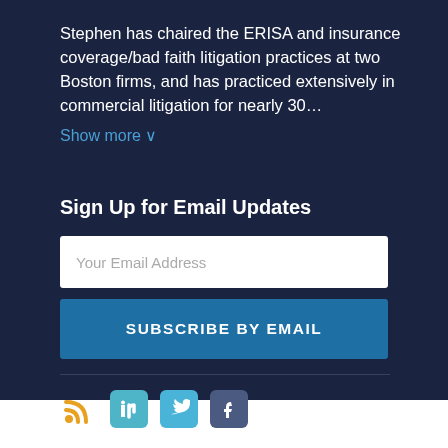Stephen has chaired the ERISA and insurance coverage/bad faith litigation practices at two Boston firms, and has practiced extensively in commercial litigation for nearly 30…
Show more ∨
Sign Up for Email Updates
Your Email Address
SUBSCRIBE BY EMAIL
[Figure (infographic): Social media icons: RSS feed (orange), LinkedIn (teal), Twitter (light blue), Facebook (dark blue)]